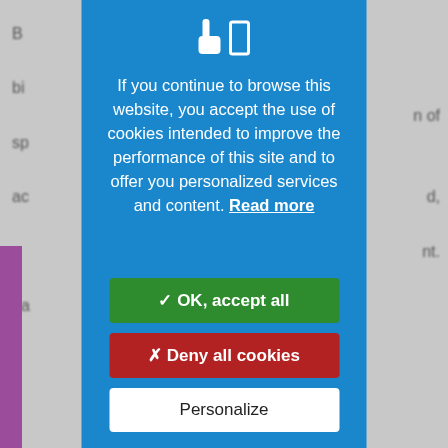[Figure (screenshot): Cookie consent modal overlay on a website. Blue modal with cookie/hand icons at top, text explaining cookie usage, and three buttons: OK accept all (green), Deny all cookies (red), Personalize (white). Background shows blurred webpage text.]
If you continue to browse this website, you accept the use of cookies intended to improve the performance of this site and to offer you personalized services and content. Read more
✓ OK, accept all
✗ Deny all cookies
Personalize